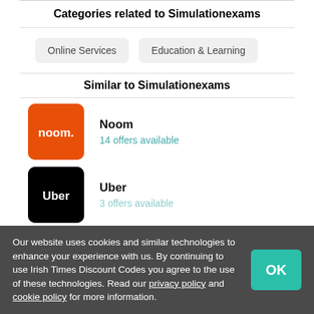Categories related to Simulationexams
Online Services
Education & Learning
Similar to Simulationexams
[Figure (logo): Noom orange logo with white text 'noom.']
Noom
14 offers available
[Figure (logo): Uber black logo with white text 'Uber']
Uber
3 offers available
Our website uses cookies and similar technologies to enhance your experience with us. By continuing to use Irish Times Discount Codes you agree to the use of these technologies. Read our privacy policy and cookie policy for more information.